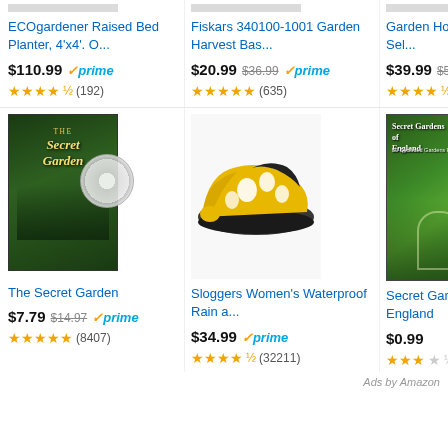[Figure (screenshot): Amazon product listing grid showing 6 garden-related products with prices, Prime badges, star ratings, and review counts]
ECOgardener Raised Bed Planter, 4'x4'. O...
$110.99 ✓prime ★★★★½ (192)
Fiskars 340100-1001 Garden Harvest Bas...
$20.99 $36.99 ✓prime ★★★★★ (635)
Garden Hose Expandable 100ft, Sel...
$39.99 $56.99 ✓prime ★★★★½ (6315)
[Figure (photo): The Secret Garden DVD cover with disc]
The Secret Garden
$7.79 $14.97 ✓prime ★★★★★ (8407)
[Figure (photo): Sloggers Women's Waterproof Rain and Garden Shoe in yellow with chicken print]
Sloggers Women's Waterproof Rain a...
$34.99 ✓prime ★★★★½ (32211)
[Figure (photo): Secret Gardens of England book cover]
Secret Gardens of England
$0.99 ★★★½ (58)
Ads by Amazon